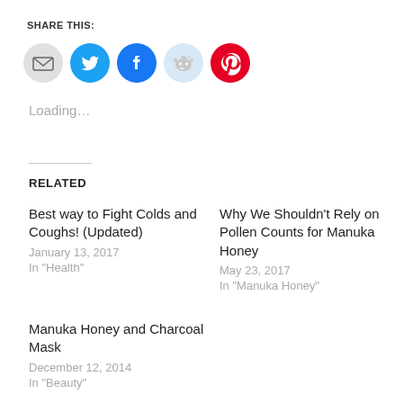SHARE THIS:
[Figure (other): Row of social share icons: email (grey circle), Twitter (blue circle with bird), Facebook (blue circle with f), Reddit (light blue circle with alien), Pinterest (red circle with P)]
Loading…
RELATED
Best way to Fight Colds and Coughs! (Updated)
January 13, 2017
In "Health"
Why We Shouldn't Rely on Pollen Counts for Manuka Honey
May 23, 2017
In "Manuka Honey"
Manuka Honey and Charcoal Mask
December 12, 2014
In "Beauty"